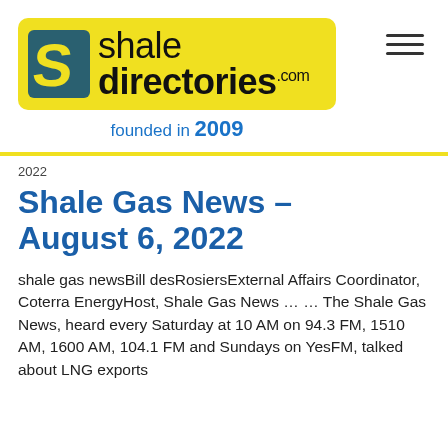[Figure (logo): Shale Directories .com logo on yellow background with stylized S icon]
founded in 2009
2022
Shale Gas News – August 6, 2022
shale gas newsBill desRosiersExternal Affairs Coordinator, Coterra EnergyHost, Shale Gas News … … The Shale Gas News, heard every Saturday at 10 AM on 94.3 FM, 1510 AM, 1600 AM, 104.1 FM and Sundays on YesFM, talked about LNG exports